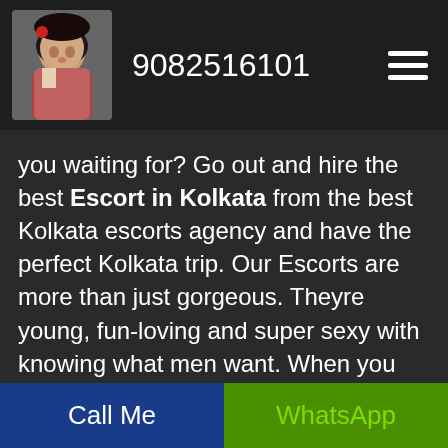9082516101
you waiting for? Go out and hire the best Escort in Kolkata from the best Kolkata escorts agency and have the perfect Kolkata trip. Our Escorts are more than just gorgeous. Theyre young, fun-loving and super sexy with knowing what men want. When you are looking for the Escort in Kolkata all you have to do is make call. In case you are looking for High Class Escorts in Kolkata then also our Kolkata escort agencies are there readily waiting for you call. So, just call and get the services.
Call Me | WhatsApp